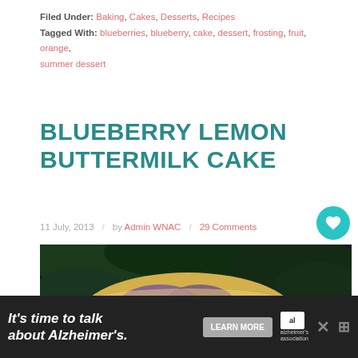Filed Under: Baking, Cakes, Desserts, Recipes
Tagged With: blueberries, blueberry, cake, dessert, frosting, fruit, orange, summer dessert
BLUEBERRY LEMON BUTTERMILK CAKE
11 July, 2013 / by Admin WNAC / 29 Comments
[Figure (photo): Close-up photo of a blueberry lemon buttermilk cake with watermark '© whoneedsacape.com']
WHAT'S NEXT → Blueberry Snack Bars
It's time to talk about Alzheimer's. LEARN MORE